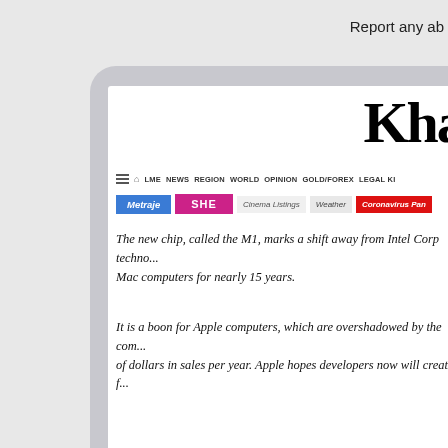Report any ab
[Figure (screenshot): A tablet device showing the Khaleej Times website. The screen shows a partial newspaper logo in blackletter font reading 'Khal', a navigation bar with items including LME, NEWS, REGION, WORLD, OPINION, GOLD/FOREX, LEGAL KI, category buttons in blue (Metraje), pink (SHE), light grey (Cinema Listings), grey (Weather), and red (Coronavirus Pan). Article text reads: 'The new chip, called the M1, marks a shift away from Intel Corp techno... Mac computers for nearly 15 years.' and 'It is a boon for Apple computers, which are overshadowed by the com... of dollars in sales per year. Apple hopes developers now will create f...']